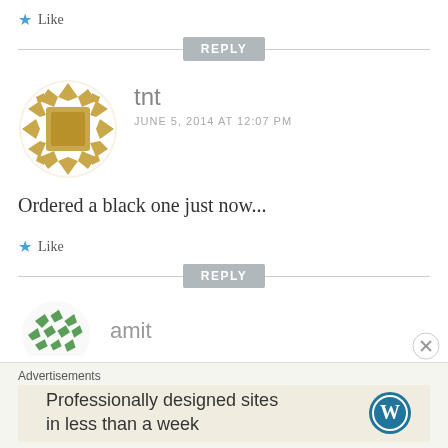★ Like
REPLY
[Figure (illustration): Golden/amber geometric mosaic avatar for user tnt]
tnt
JUNE 5, 2014 AT 12:07 PM
Ordered a black one just now...
★ Like
REPLY
[Figure (illustration): Green geometric mosaic avatar for user amit (partially visible)]
amit
Advertisements
Professionally designed sites in less than a week